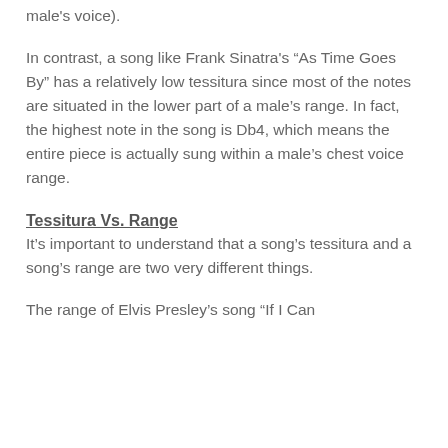male's voice).
In contrast, a song like Frank Sinatra's “As Time Goes By” has a relatively low tessitura since most of the notes are situated in the lower part of a male’s range. In fact, the highest note in the song is Db4, which means the entire piece is actually sung within a male’s chest voice range.
Tessitura Vs. Range
It’s important to understand that a song’s tessitura and a song’s range are two very different things.
The range of Elvis Presley’s song “If I Can